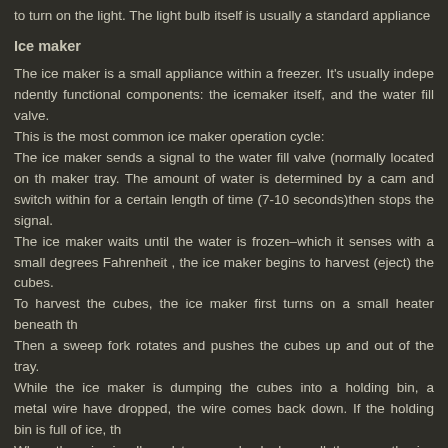to turn on the light. The light bulb itself is usually a standard appliance bulb.
Ice maker
The ice maker is a small appliance within a freezer. It's usually independently functional components: the icemaker itself, and the water fill valve.
This is the most common ice maker operation cycle:
The ice maker sends a signal to the water fill valve (normally located on the ice maker tray. The amount of water is determined by a cam and switch within for a certain length of time (7-10 seconds)then stops the signal.
The ice maker waits until the water is frozen–which it senses with a small degrees Fahrenheit , the ice maker begins to harvest (eject) the cubes.
To harvest the cubes, the ice maker first turns on a small heater beneath the
Then a sweep fork rotates and pushes the cubes up and out of the tray.
While the ice maker is dumping the cubes into a holding bin, a metal wire have dropped, the wire comes back down. If the holding bin is full of ice, th
When the wire is allowed to come back down all the way, the ice maker ref
Ice and water dispenser
There are several different systems for delivering ice and water through the systems.
Ice dispenser